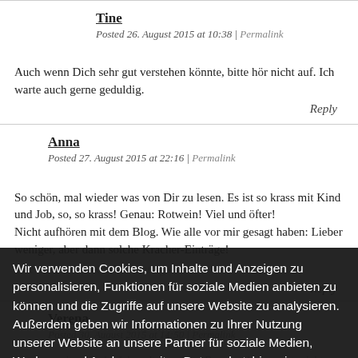Tine
Posted 26. August 2015 at 10:38 | Permalink
Auch wenn Dich sehr gut verstehen könnte, bitte hör nicht auf. Ich warte auch gerne geduldig.
Reply
Anna
Posted 27. August 2015 at 22:16 | Permalink
So schön, mal wieder was von Dir zu lesen. Es ist so krass mit Kind und Job, so, so krass! Genau: Rotwein! Viel und öfter!
Nicht aufhören mit dem Blog. Wie alle vor mir gesagt haben: Lieber weniger, aber dann solche Kracher-Einträge!
Reply
Verena
Posted 30. August 2015 at 14:50 | Permalink
Wir verwenden Cookies, um Inhalte und Anzeigen zu personalisieren, Funktionen für soziale Medien anbieten zu können und die Zugriffe auf unsere Website zu analysieren. Außerdem geben wir Informationen zu Ihrer Nutzung unserer Website an unsere Partner für soziale Medien, Werbung und Analysen weiter. Datenschutzhinweise
Cookie-Einstellungen
✓ Cookies Akzeptieren